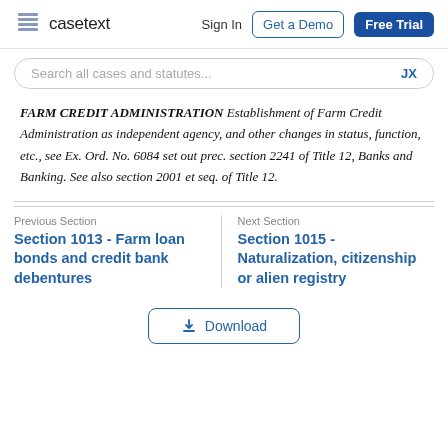casetext  Sign In  Get a Demo  Free Trial
Search all cases and statutes...
FARM CREDIT ADMINISTRATION Establishment of Farm Credit Administration as independent agency, and other changes in status, function, etc., see Ex. Ord. No. 6084 set out prec. section 2241 of Title 12, Banks and Banking. See also section 2001 et seq. of Title 12.
Previous Section
Section 1013 - Farm loan bonds and credit bank debentures
Next Section
Section 1015 - Naturalization, citizenship or alien registry
Download